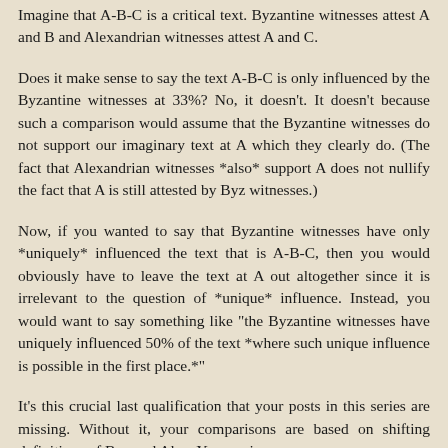Imagine that A-B-C is a critical text. Byzantine witnesses attest A and B and Alexandrian witnesses attest A and C.
Does it make sense to say the text A-B-C is only influenced by the Byzantine witnesses at 33%? No, it doesn't. It doesn't because such a comparison would assume that the Byzantine witnesses do not support our imaginary text at A which they clearly do. (The fact that Alexandrian witnesses *also* support A does not nullify the fact that A is still attested by Byz witnesses.)
Now, if you wanted to say that Byzantine witnesses have only *uniquely* influenced the text that is A-B-C, then you would obviously have to leave the text at A out altogether since it is irrelevant to the question of *unique* influence. Instead, you would want to say something like "the Byzantine witnesses have uniquely influenced 50% of the text *where such unique influence is possible in the first place.*"
It's this crucial last qualification that your posts in this series are missing. Without it, your comparisons are based on shifting definitions of Byz and Alex. Your main concer...